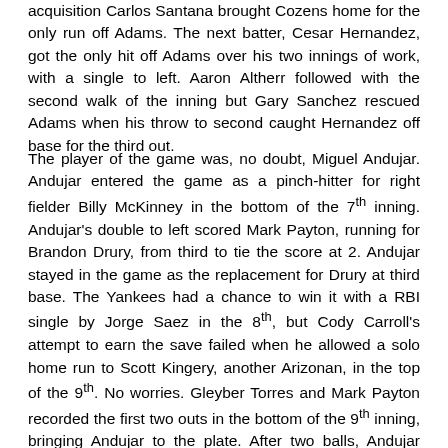acquisition Carlos Santana brought Cozens home for the only run off Adams. The next batter, Cesar Hernandez, got the only hit off Adams over his two innings of work, with a single to left. Aaron Altherr followed with the second walk of the inning but Gary Sanchez rescued Adams when his throw to second caught Hernandez off base for the third out.
The player of the game was, no doubt, Miguel Andujar. Andujar entered the game as a pinch-hitter for right fielder Billy McKinney in the bottom of the 7th inning. Andujar's double to left scored Mark Payton, running for Brandon Drury, from third to tie the score at 2. Andujar stayed in the game as the replacement for Drury at third base. The Yankees had a chance to win it with a RBI single by Jorge Saez in the 8th, but Cody Carroll's attempt to earn the save failed when he allowed a solo home run to Scott Kingery, another Arizonan, in the top of the 9th. No worries. Gleyber Torres and Mark Payton recorded the first two outs in the bottom of the 9th inning, bringing Andujar to the plate. After two balls, Andujar swung and missed at the next two pitches. On the fifth pitch from Phillies reliever Ranger Suarez, Andujar sent the ball over the fence in left